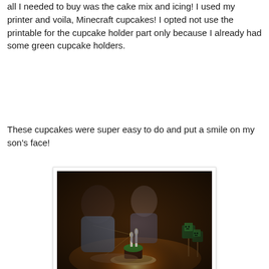all I needed to buy was the cake mix and icing!  I used my printer and voila, Minecraft cupcakes!  I opted not use the printable for the cupcake holder part only because I already had some green cupcake holders.
These cupcakes were super easy to do and put a smile on my son's face!
[Figure (photo): Two children at a dark table looking at a birthday cupcake with lit candles on a plate, with Minecraft-themed cupcake toppers visible to the right. Warm candlelight illuminates the scene. Watermark reads dabblingmom.me.blogspot.com]